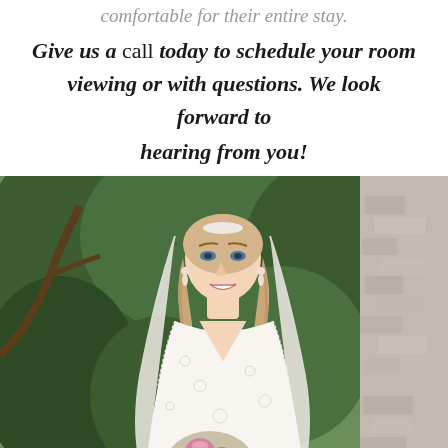comfortable for their entire stay. Give us a call today to schedule your room viewing or with questions. We look forward to hearing from you!
[Figure (photo): A bride in a white lace wedding dress with a veil, holding pink roses, smiling, photographed outdoors in front of green foliage and a stone wall.]